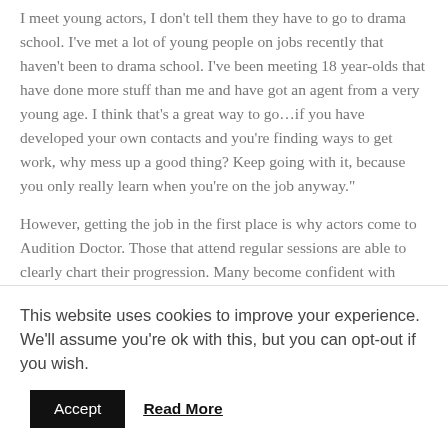I meet young actors, I don't tell them they have to go to drama school. I've met a lot of young people on jobs recently that haven't been to drama school. I've been meeting 18 year-olds that have done more stuff than me and have got an agent from a very young age. I think that's a great way to go…if you have developed your own contacts and you're finding ways to get work, why mess up a good thing? Keep going with it, because you only really learn when you're on the job anyway."
However, getting the job in the first place is why actors come to Audition Doctor. Those that attend regular sessions are able to clearly chart their progression. Many become confident with Shakespeare which has stood them in good stead for drama school auditions most of which require at
This website uses cookies to improve your experience. We'll assume you're ok with this, but you can opt-out if you wish.
Accept   Read More